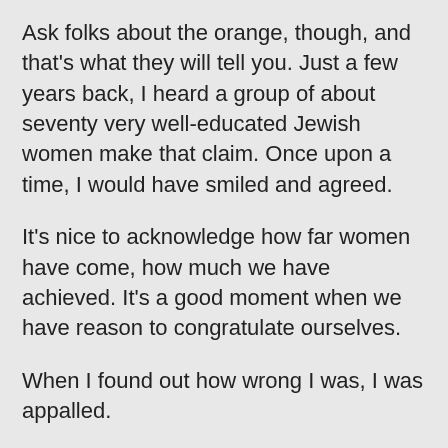Ask folks about the orange, though, and that's what they will tell you. Just a few years back, I heard a group of about seventy very well-educated Jewish women make that claim. Once upon a time, I would have smiled and agreed.
It's nice to acknowledge how far women have come, how much we have achieved. It's a good moment when we have reason to congratulate ourselves.
When I found out how wrong I was, I was appalled.
Here's the truth.
According to Susannah Heschel herself, the story begins back in the 1980's, when she read a feminist Haggadah that suggested adding a crust of bread to the seder plate as a way to demonstrate understanding for the status of lesbians in the Jewish